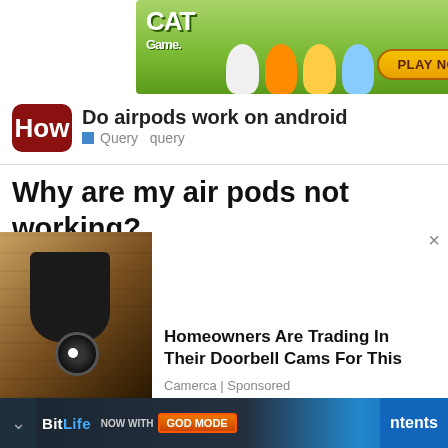[Figure (screenshot): Cat Game advertisement banner with cartoon cats and PLAY NOW button]
[Figure (logo): How.com logo - red rounded rectangle with white H and 'ow' text]
Do airpods work on android
Query  query
Why are my air pods not working?
[Figure (photo): Security camera mounted on wall - Homeowners Are Trading In Their Doorbell Cams For This advertisement]
Homeowners Are Trading In Their Doorbell Cams For This
Camerca | Sponsored
[Figure (screenshot): BitLife NOW WITH GOD MODE advertisement banner with hand graphic]